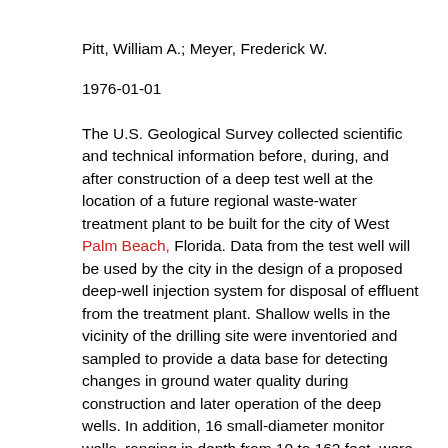Pitt, William A.; Meyer, Frederick W.
1976-01-01
The U.S. Geological Survey collected scientific and technical information before, during, and after construction of a deep test well at the location of a future regional waste-water treatment plant to be built for the city of West Palm Beach, Florida. Data from the test well will be used by the city in the design of a proposed deep-well injection system for disposal of effluent from the treatment plant. Shallow wells in the vicinity of the drilling site were inventoried and sampled to provide a data base for detecting changes in ground water quality during construction and later operation of the deep wells. In addition, 16 small-diameter monitor wells, ranging in depth from 10 to 162 feet, were drilled at the test site. During the drilling of the deep test well, water samples were collected weekly from the 16 monitor wells for determination of chloride content and specific conductance. Evidence of small spills of salt water were found in monitor wells ranging in depth from 10 to 40 feet. Efforts to remove the salt water from the shallow unconfined aquifer by pumping were undertaken by the drilling contractor at